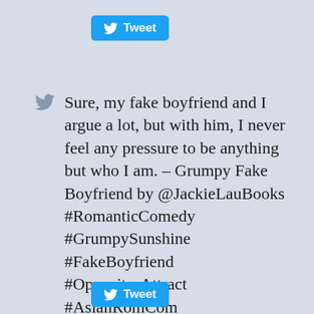[Figure (screenshot): Twitter Tweet button at top]
Sure, my fake boyfriend and I argue a lot, but with him, I never feel any pressure to be anything but who I am. – Grumpy Fake Boyfriend by @JackieLauBooks #RomanticComedy #GrumpySunshine #FakeBoyfriend #OppositesAttract #AsianRomCom
[Figure (screenshot): Twitter Tweet button at bottom]